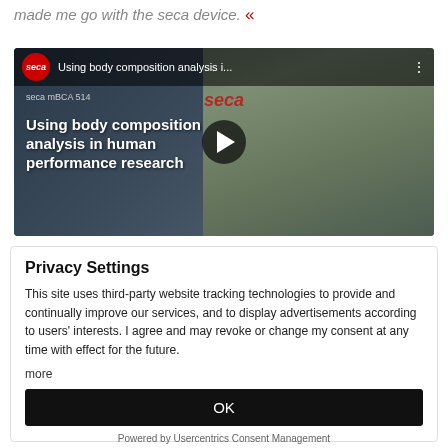made me go with the seca device. «
[Figure (screenshot): Embedded video thumbnail showing a man speaking, with seca logo and title 'Using body composition analysis i...' and play button overlay. Subtitle text: 'seca mBCA 514', overlay text: 'Using body composition analysis in human performance research']
Privacy Settings
This site uses third-party website tracking technologies to provide and continually improve our services, and to display advertisements according to users' interests. I agree and may revoke or change my consent at any time with effect for the future.
more
OK
Powered by Usercentrics Consent Management